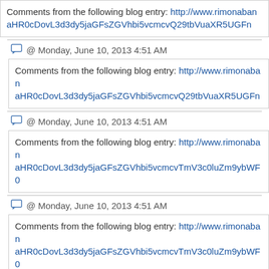Comments from the following blog entry: http://www.rimonaban...aHR0cDovL3d3dy5jaGFsZGVhbi5vcmcvQ29tbXVaXR5UGFn...
@ Monday, June 10, 2013 4:51 AM
Comments from the following blog entry: http://www.rimonaban...aHR0cDovL3d3dy5jaGFsZGVhbi5vcmcvQ29tbXVaXR5UGFn...
@ Monday, June 10, 2013 4:51 AM
Comments from the following blog entry: http://www.rimonaban...aHR0cDovL3d3dy5jaGFsZGVhbi5vcmcvTmV3c0luZm9ybWF0...
@ Monday, June 10, 2013 4:51 AM
Comments from the following blog entry: http://www.rimonaban...aHR0cDovL3d3dy5jaGFsZGVhbi5vcmcvTmV3c0luZm9ybWF0...
@ Monday, June 10, 2013 4:51 AM
Comments from the following blog entry: http://www.rimonaban...aHR0cDovL3d3dy5jaGFsZGVhbi5vcmcvQ29tbVaXR5UGFn...
@ Monday, June 10, 2013 4:51 AM